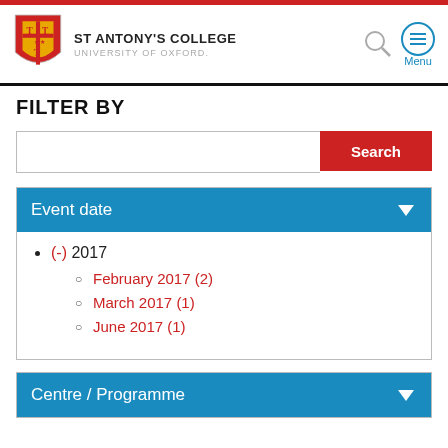ST ANTONY'S COLLEGE UNIVERSITY OF OXFORD.
FILTER BY
Search
Event date
(-) 2017
February 2017 (2)
March 2017 (1)
June 2017 (1)
Centre / Programme